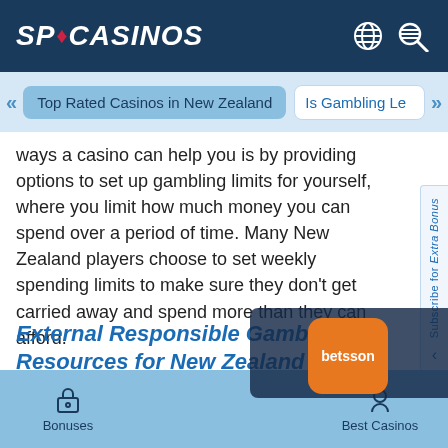SPCASINOS
Top Rated Casinos in New Zealand | Is Gambling Le
ways a casino can help you is by providing options to set up gambling limits for yourself, where you limit how much money you can spend over a period of time. Many New Zealand players choose to set weekly spending limits to make sure they don't get carried away and spend more than they can afford.
External Responsible Gambling Resources for New Zealand Players
Bonuses | Casino of the Month | Best Casinos